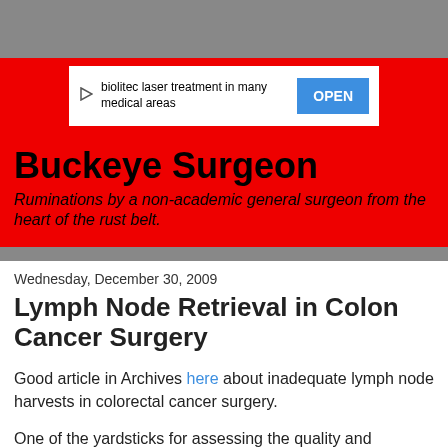[Figure (other): Advertisement banner for biolitec laser treatment with blue OPEN button on red background]
Buckeye Surgeon
Ruminations by a non-academic general surgeon from the heart of the rust belt.
Wednesday, December 30, 2009
Lymph Node Retrieval in Colon Cancer Surgery
Good article in Archives here about inadequate lymph node harvests in colorectal cancer surgery.
One of the yardsticks for assessing the quality and oncologic adequacy of a surgical resection for colon cancer is to determine the number of lymph nodes harvested with the specimen...